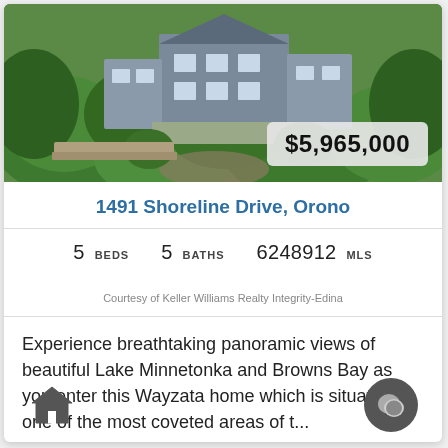[Figure (photo): Aerial view of a large multi-story home surrounded by trees and green landscaping]
1491 Shoreline Drive, Orono
5 BEDS   5 BATHS   6248912 MLS
Courtesy of Keller Williams Realty Integrity-Edina
Experience breathtaking panoramic views of beautiful Lake Minnetonka and Browns Bay as you enter this Wayzata home which is situated in one of the most coveted areas of t...